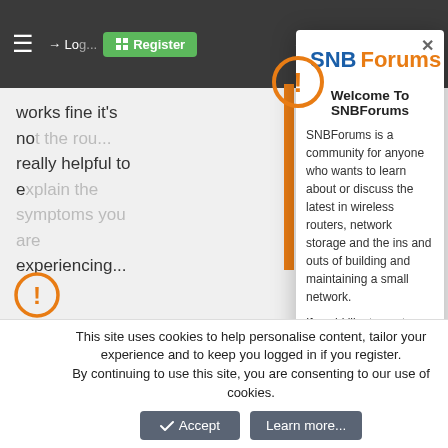[Figure (screenshot): SNBForums website screenshot with navigation bar showing hamburger menu, Login, Register button, and icons]
works fine it's not the rou... be really helpful to explain the symptoms you are experiencing...
You must lo...
Similar threads
TUF AX-3000 Merlin Firmware - Issues & Stock Firmware HELP! Developers
Started by MrHC1983 · Yesterday at 12:53 AM · Replies: 1
[Figure (screenshot): SNBForums modal dialog with logo, welcome text and community description]
Welcome To SNBForums
SNBForums is a community for anyone who wants to learn about or discuss the latest in wireless routers, network storage and the ins and outs of building and maintaining a small network.
If you'd like to post a question, simply register and have at it!
While you're at it, please check out SmallNetBuilder for product reviews and our famous Router Charts, Ranker and plenty more!
This site uses cookies to help personalise content, tailor your experience and to keep you logged in if you register. By continuing to use this site, you are consenting to our use of cookies.
Accept
Learn more...